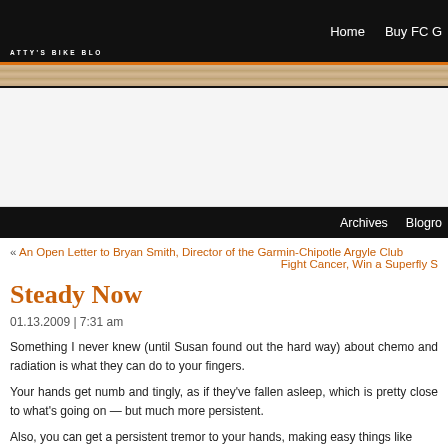Home   Buy FC   Archives   Blogro
[Figure (screenshot): Fatty's Bike Blog logo/banner area with orange and tan textured banner strip]
« An Open Letter to Bryan Smith, Director of the Garmin-Chipotle Argyle Club   Fight Cancer, Win a Superfly S
Steady Now
01.13.2009 | 7:31 am
Something I never knew (until Susan found out the hard way) about chemo and radiation is what they can do to your fingers.
Your hands get numb and tingly, as if they've fallen asleep, which is pretty close to what's going on — but much more persistent.
Also, you can get a persistent tremor to your hands, making easy things like